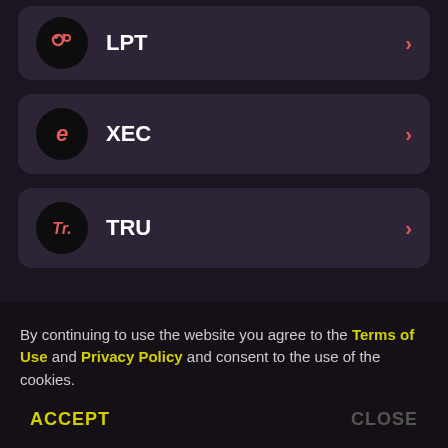LPT
XEC
TRU
By continuing to use the website you agree to the Terms of Use and Privacy Policy and consent to the use of the cookies.
ACCEPT
CLOSE